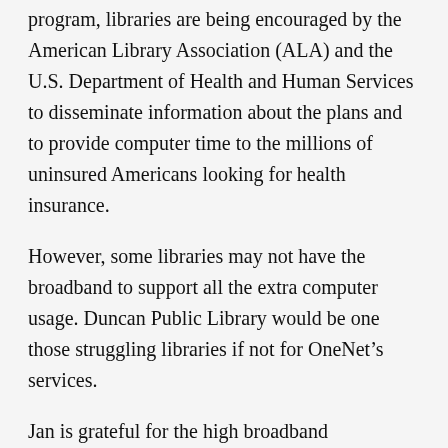program, libraries are being encouraged by the American Library Association (ALA) and the U.S. Department of Health and Human Services to disseminate information about the plans and to provide computer time to the millions of uninsured Americans looking for health insurance.
However, some libraries may not have the broadband to support all the extra computer usage. Duncan Public Library would be one those struggling libraries if not for OneNet’s services.
Jan is grateful for the high broadband capabilities OneNet provides.
“We are able to offer better quality of services and more services to our library customers,” Jan said. Thankfully, when Oct. 1 and the healthcare initiative